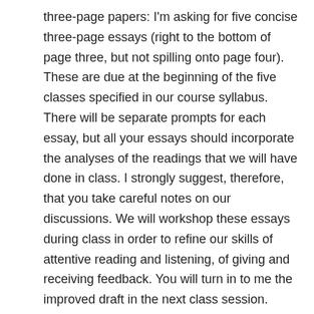three-page papers: I'm asking for five concise three-page essays (right to the bottom of page three, but not spilling onto page four). These are due at the beginning of the five classes specified in our course syllabus. There will be separate prompts for each essay, but all your essays should incorporate the analyses of the readings that we will have done in class. I strongly suggest, therefore, that you take careful notes on our discussions. We will workshop these essays during class in order to refine our skills of attentive reading and listening, of giving and receiving feedback. You will turn in to me the improved draft in the next class session.